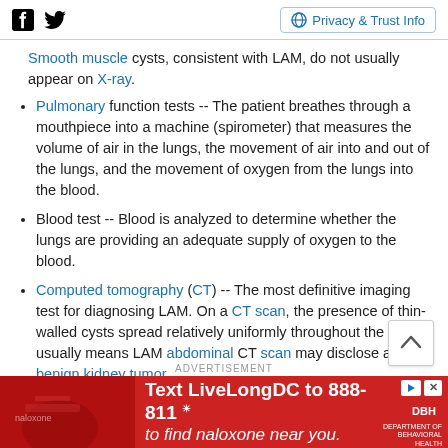Facebook Twitter | Privacy & Trust Info
Smooth muscle cysts, consistent with LAM, do not usually appear on X-ray.
Pulmonary function tests -- The patient breathes through a mouthpiece into a machine (spirometer) that measures the volume of air in the lungs, the movement of air into and out of the lungs, and the movement of oxygen from the lungs into the blood.
Blood test -- Blood is analyzed to determine whether the lungs are providing an adequate supply of oxygen to the blood.
Computed tomography (CT) -- The most definitive imaging test for diagnosing LAM. On a CT scan, the presence of thin-walled cysts spread relatively uniformly throughout the lungs usually means LAM abdominal CT scan may disclose a benign kidney tumor
[Figure (infographic): Advertisement banner: 'Text LiveLongDC to 888-811 to find naloxone near you.' Red background with DBH logo.]
ADVERTISEMENT